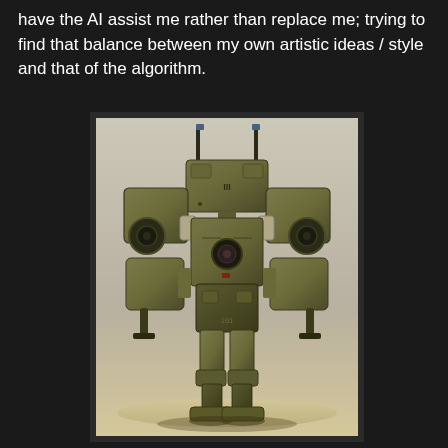have the AI assist me rather than replace me; trying to find that balance between my own artistic ideas / style and that of the algorithm.
[Figure (illustration): AI-generated illustration of a large military mech (battle robot) standing upright, front view. The mech is olive/khaki colored with weathered metal panels, large shoulder-mounted weapons or equipment boxes, two tall antenna-like protrusions on the top, circular wheel-like elements on the sides, and digitigrade legs ending in wide flat feet. The background is a neutral beige/grey gradient suggesting an outdoor environment. The style is realistic concept art.]